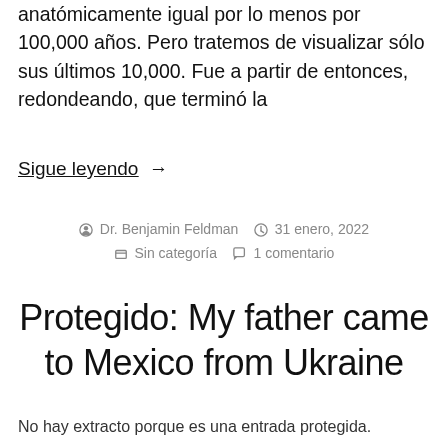anatómicamente igual por lo menos por 100,000 años. Pero tratemos de visualizar sólo sus últimos 10,000. Fue a partir de entonces, redondeando, que terminó la
Sigue leyendo →
Dr. Benjamin Feldman  31 enero, 2022  Sin categoría  1 comentario
Protegido: My father came to Mexico from Ukraine
No hay extracto porque es una entrada protegida.